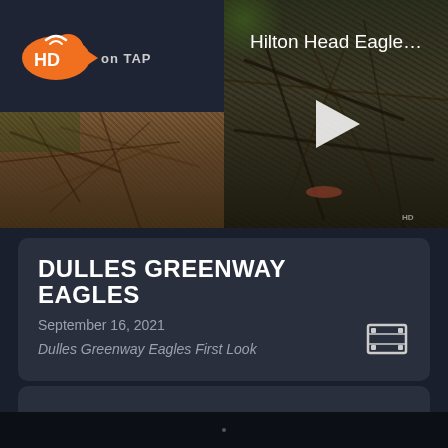[Figure (logo): HD on Tap logo - orange cloud with HD text and 'on tap' text with arrow]
[Figure (photo): Video thumbnail showing brown mulch/straw ground cover]
[Figure (photo): Video thumbnail showing eagle nest with sticks and debris, with play button overlay and title 'Hilton Head Eagle...']
DULLES GREENWAY EAGLES
September 16, 2021
Dulles Greenway Eagles First Look
[Figure (other): Film/video icon (filmstrip)]
[Figure (other): Empty dark card placeholder]